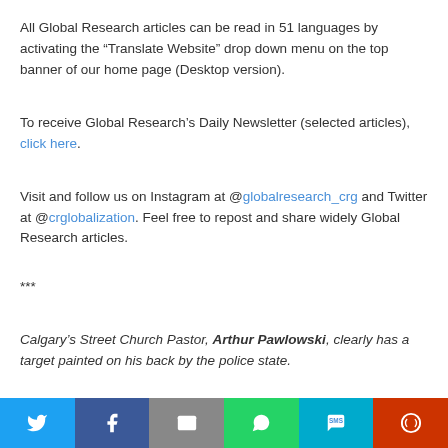All Global Research articles can be read in 51 languages by activating the “Translate Website” drop down menu on the top banner of our home page (Desktop version).
To receive Global Research’s Daily Newsletter (selected articles), click here.
Visit and follow us on Instagram at @globalresearch_crg and Twitter at @crglobalization. Feel free to repost and share widely Global Research articles.
***
Calgary’s Street Church Pastor, Arthur Pawlowski, clearly has a target painted on his back by the police state.
[Figure (infographic): Social media share bar with Twitter, Facebook, Email, WhatsApp, SMS, and More buttons]